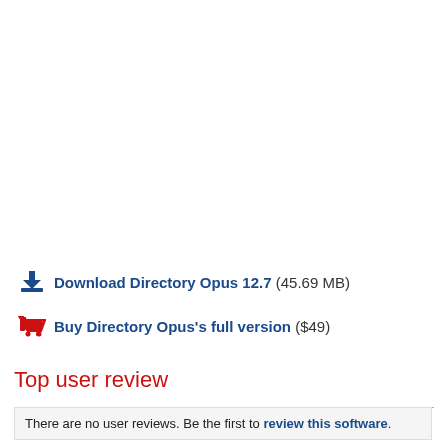Download Directory Opus 12.7 (45.69 MB)
Buy Directory Opus's full version ($49)
Top user review
There are no user reviews. Be the first to review this software.